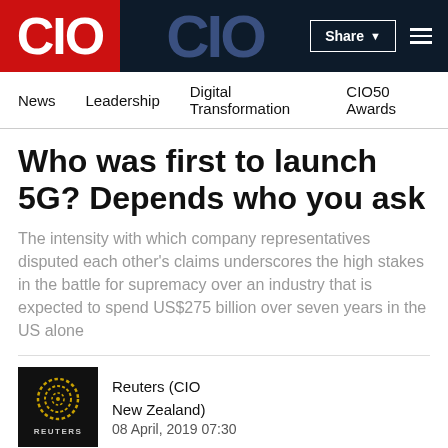CIO
News | Leadership | Digital Transformation | CIO50 Awards
Who was first to launch 5G? Depends who you ask
The intensity with which company representatives disputed each other's claims underscores the high stakes in the battle for supremacy over an industry that is expected to spend US$275 billion over seven years in the US alone
Reuters (CIO New Zealand)
08 April, 2019 07:30